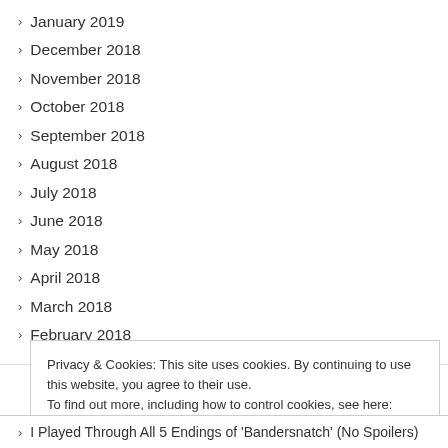January 2019
December 2018
November 2018
October 2018
September 2018
August 2018
July 2018
June 2018
May 2018
April 2018
March 2018
February 2018
Privacy & Cookies: This site uses cookies. By continuing to use this website, you agree to their use.
To find out more, including how to control cookies, see here: Cookie Policy
I Played Through All 5 Endings of 'Bandersnatch' (No Spoilers)